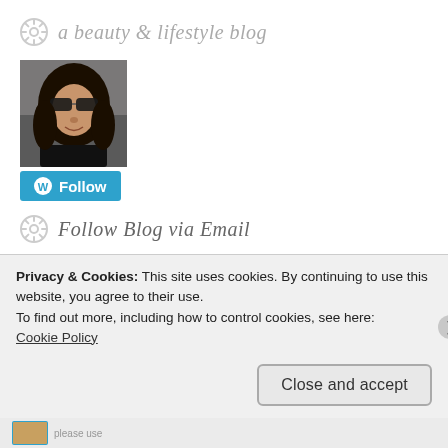a beauty & lifestyle blog
[Figure (photo): Profile photo of a woman with sunglasses and long dark hair, wearing a black top]
[Figure (other): WordPress Follow button in blue with W logo]
Follow Blog via Email
Enter your email address to follow this blog and receive notifications of new posts by email.
Privacy & Cookies: This site uses cookies. By continuing to use this website, you agree to their use.
To find out more, including how to control cookies, see here:
Cookie Policy
Close and accept